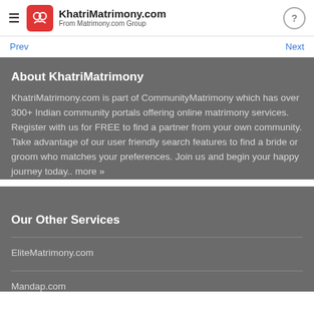KhatriMatrimony.com — From Matrimony.com Group
Prev  Next
About KhatriMatrimony
KhatriMatrimony.com is part of CommunityMatrimony which has over 300+ Indian community portals offering online matrimony services. Register with us for FREE to find a partner from your own community. Take advantage of our user friendly search features to find a bride or groom who matches your preferences. Join us and begin your happy journey today.. more »
Our Other Services
EliteMatrimony.com
Mandap.com